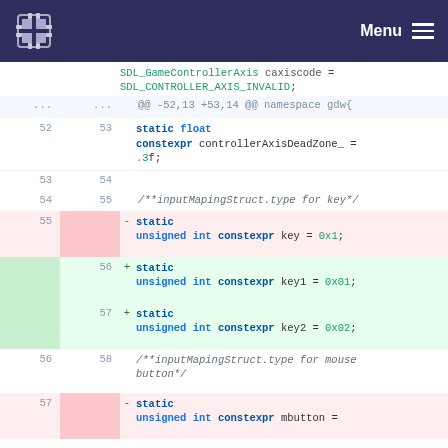Menu (navigation bar with logo)
[Figure (screenshot): Code diff view showing changes to C++ source file. Lines showing SDL_GameControllerAxis caxiscode = SDL_CONTROLLER_AXIS_INVALID; diff hunk header @@ -52,13 +53,14 @@ namespace gdw{, static float constexpr controllerAxisDeadZone_ = .3f;, /**inputMapingStruct.type for key*/, removal of static unsigned int constexpr key = 0x1; and addition of static unsigned int constexpr key1 = 0x01; key2 = 0x02;, /**inputMapingStruct.type for mouse button*/, and start of static unsigned int constexpr mbutton =]